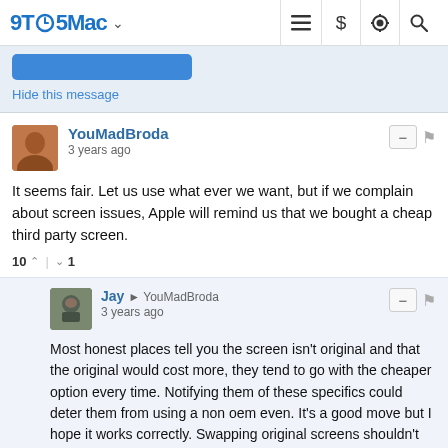9TO5Mac
Hide this message
YouMadBroda
3 years ago
It seems fair. Let us use what ever we want, but if we complain about screen issues, Apple will remind us that we bought a cheap third party screen.
10 ^ | v 1
Jay → YouMadBroda
3 years ago
Most honest places tell you the screen isn't original and that the original would cost more, they tend to go with the cheaper option every time. Notifying them of these specifics could deter them from using a non oem even. It's a good move but I hope it works correctly. Swapping original screens shouldn't give any issues just because it's from another phone.